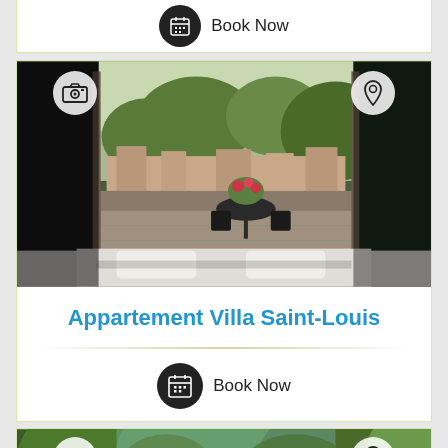[Figure (other): Partial bottom of a listing card showing a 'Book Now' button with calendar icon]
[Figure (photo): Apartment listing card for Appartement Villa Saint-Louis showing interior room view with open doors leading to a terrace with outdoor furniture and garden/town view]
Appartement Villa Saint-Louis
Book Now
[Figure (photo): Partial top of another listing card showing a lush green garden/trees photo with camera and location icons]